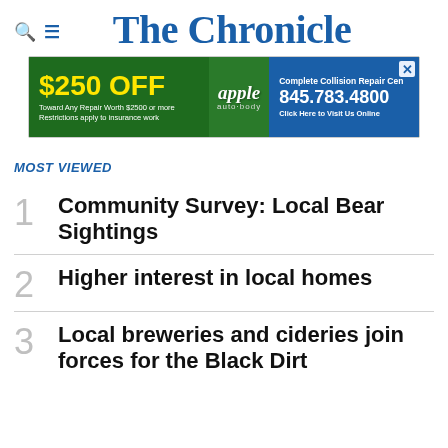The Chronicle
[Figure (infographic): Advertisement banner for Apple Auto Body: $250 OFF toward any repair worth $2500 or more. Restrictions apply to insurance work. Complete Collision Repair Center. 845.783.4800. Click Here to Visit Us Online.]
MOST VIEWED
1 Community Survey: Local Bear Sightings
2 Higher interest in local homes
3 Local breweries and cideries join forces for the Black Dirt